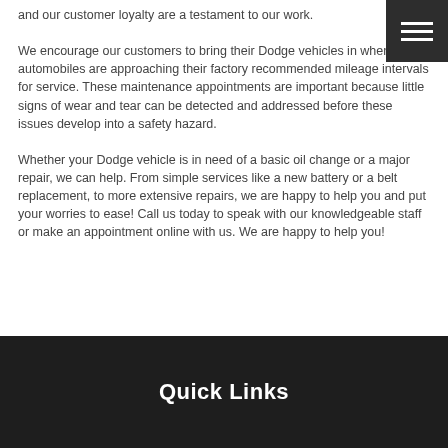and our customer loyalty are a testament to our work.
We encourage our customers to bring their Dodge vehicles in when the automobiles are approaching their factory recommended mileage intervals for service. These maintenance appointments are important because little signs of wear and tear can be detected and addressed before these issues develop into a safety hazard.
Whether your Dodge vehicle is in need of a basic oil change or a major repair, we can help. From simple services like a new battery or a belt replacement, to more extensive repairs, we are happy to help you and put your worries to ease! Call us today to speak with our knowledgeable staff or make an appointment online with us. We are happy to help you!
Quick Links